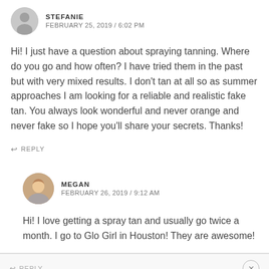STEFANIE
FEBRUARY 25, 2019 / 6:02 PM
Hi! I just have a question about spraying tanning. Where do you go and how often? I have tried them in the past but with very mixed results. I don't tan at all so as summer approaches I am looking for a reliable and realistic fake tan. You always look wonderful and never orange and never fake so I hope you'll share your secrets. Thanks!
REPLY
MEGAN
FEBRUARY 26, 2019 / 9:12 AM
Hi! I love getting a spray tan and usually go twice a month. I go to Glo Girl in Houston! They are awesome!
REPLY